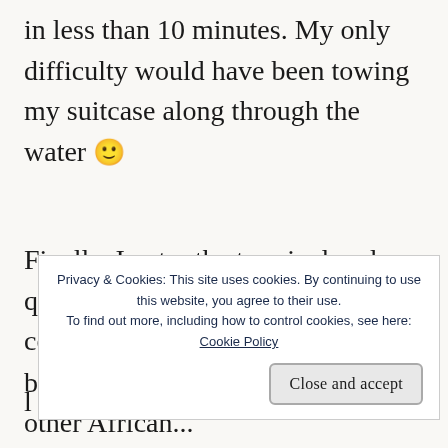in less than 10 minutes. My only difficulty would have been towing my suitcase along through the water 🙂
Finally, I enter the terminal and a quick look around showed mass confusion, many queues and l...
business to attend to. Like a few other African...
[Figure (screenshot): Cookie consent banner overlay with text: 'Privacy & Cookies: This site uses cookies. By continuing to use this website, you agree to their use. To find out more, including how to control cookies, see here: Cookie Policy' and a 'Close and accept' button.]